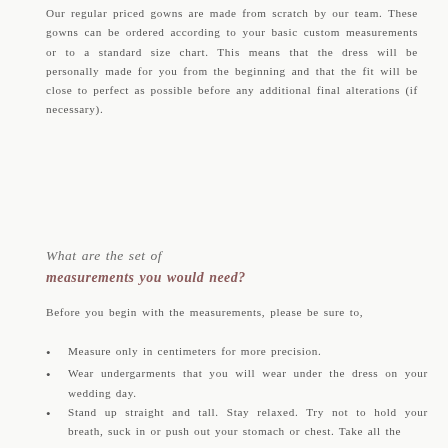Our regular priced gowns are made from scratch by our team. These gowns can be ordered according to your basic custom measurements or to a standard size chart. This means that the dress will be personally made for you from the beginning and that the fit will be close to perfect as possible before any additional final alterations (if necessary).
What are the set of measurements you would need?
Before you begin with the measurements, please be sure to,
Measure only in centimeters for more precision.
Wear undergarments that you will wear under the dress on your wedding day.
Stand up straight and tall. Stay relaxed. Try not to hold your breath, suck in or push out your stomach or chest. Take all the